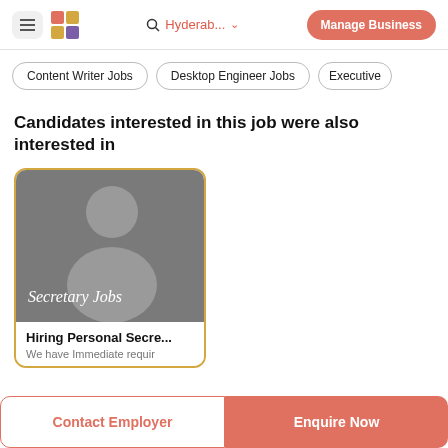≡  [logo]  🔍 Hyderab... ∨  Manage Business
Content Writer Jobs
Desktop Engineer Jobs
Executive
Candidates interested in this job were also interested in
[Figure (photo): A job listing card with a grey background showing a person silhouette and the text 'Secretary Jobs' in italic white font. Below the image: 'Hiring Personal Secre...' and 'We have Immediate requir']
Hiring Personal Secre...
We have Immediate requir
Contact Employer
Enquire Now